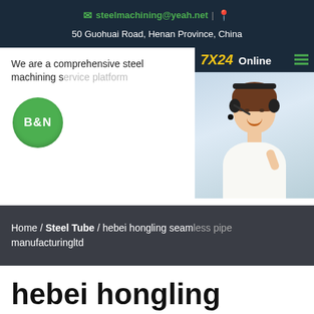steelmachining@yeah.net | 50 Guohuai Road, Henan Province, China
We are a comprehensive steel machining s...
[Figure (logo): B&N logo - green circle with white bold text 'B&N']
[Figure (photo): 7X24 Online support popup with customer service agent photo, 'Hello,may I help you?' text and 'Get Latest Price' yellow button]
Home / Steel Tube / hebei hongling seam... manufacturingltd
hebei hongling